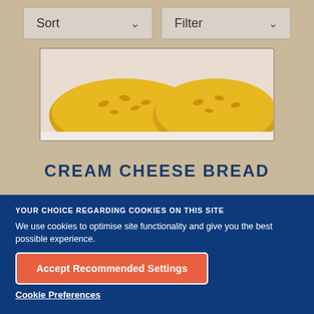[Figure (screenshot): Sort and Filter dropdown controls on a beige background]
[Figure (photo): Close-up photo of cream cheese bread with sesame seeds on top, partially visible]
CREAM CHEESE BREAD
YOUR CHOICE REGARDING COOKIES ON THIS SITE
We use cookies to optimise site functionality and give you the best possible experience.
Accept Recommended Settings
Cookie Preferences